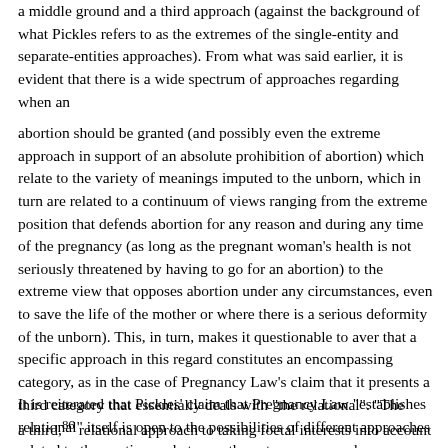a middle ground and a third approach (against the background of what Pickles refers to as the extremes of the single-entity and separate-entities approaches). From what was said earlier, it is evident that there is a wide spectrum of approaches regarding when an
abortion should be granted (and possibly even the extreme approach in support of an absolute prohibition of abortion) which relate to the variety of meanings imputed to the unborn, which in turn are related to a continuum of views ranging from the extreme position that defends abortion for any reason and during any time of the pregnancy (as long as the pregnant woman's health is not seriously threatened by having to go for an abortion) to the extreme view that opposes abortion under any circumstances, even to save the life of the mother or where there is a serious deformity of the unborn). This, in turn, makes it questionable to aver that a specific approach in this regard constitutes an encompassing category, as in the case of Pregnancy Law's claim that it presents a third category that essentially deals with "the relational". "The relational" itself is open to the possibilities of different approaches related to the continuum between the extreme approaches, as explained earlier.
It is reiterated that Pickles' claim that Pregnancy Law "establishes a third,86 relational approach to taking foetal interests into account ...